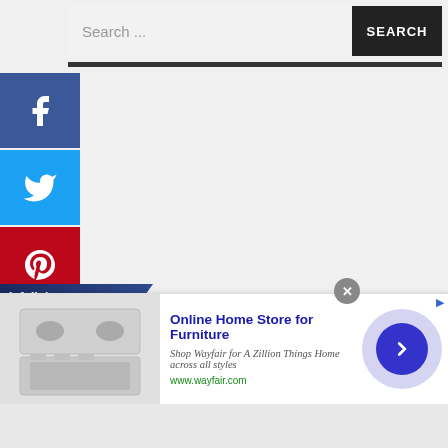[Figure (screenshot): Search bar with text input 'Search ...' and dark SEARCH button]
[Figure (infographic): Social media share buttons: Facebook (blue), Twitter (light blue), Pinterest (red), LinkedIn (blue), Tumblr (dark blue)]
[Figure (infographic): Infolinks branded bar at bottom of social icons]
[Figure (infographic): Advertisement banner: Online Home Store for Furniture - Shop Wayfair for A Zillion Things Home across all styles, www.wayfair.com, with appliance image and navigation arrow]